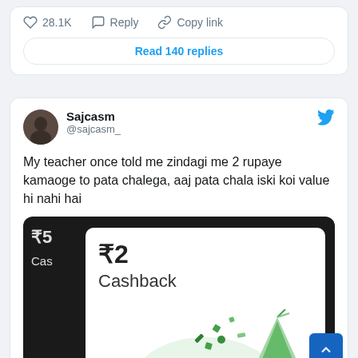[Figure (screenshot): Tweet action bar showing 28.1K likes, Reply, Copy link buttons and Read 140 replies button]
[Figure (screenshot): Tweet by Sajcasm (@sajcasm_) with text: My teacher once told me zindagi me 2 rupaye kamaoge to pata chalega, aaj pata chala iski koi value hi nahi hai. Includes image of ₹2 Cashback notification card on dark background with confetti.]